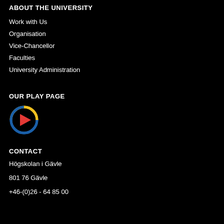ABOUT THE UNIVERSITY
Work with Us
Organisation
Vice-Chancellor
Faculties
University Administration
OUR PLAY PAGE
[Figure (logo): Play button icon with blue and yellow circular ring and red triangle play arrow on black background]
CONTACT
Högskolan i Gävle
801 76 Gävle
+46-(0)26 - 64 85 00